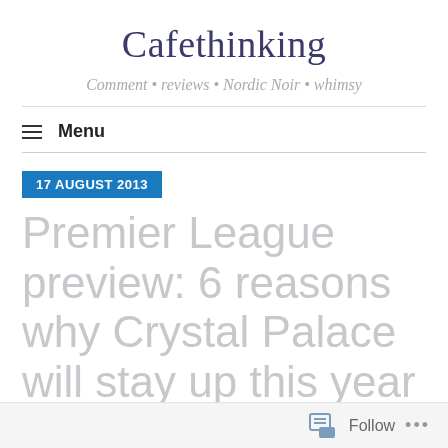Cafethinking
Comment • reviews • Nordic Noir • whimsy
≡ Menu
17 AUGUST 2013
Premier League preview: 6 reasons why Crystal Palace will stay up this year
Follow ...